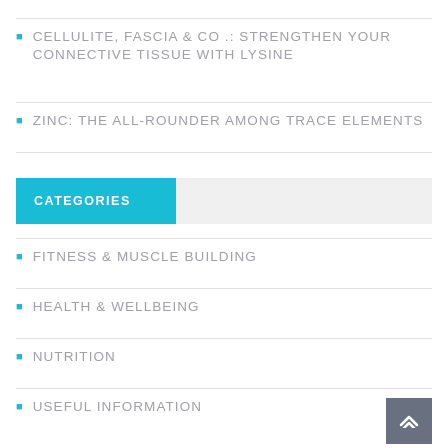CELLULITE, FASCIA & CO .: STRENGTHEN YOUR CONNECTIVE TISSUE WITH LYSINE
ZINC: THE ALL-ROUNDER AMONG TRACE ELEMENTS
CATEGORIES
FITNESS & MUSCLE BUILDING
HEALTH & WELLBEING
NUTRITION
USEFUL INFORMATION